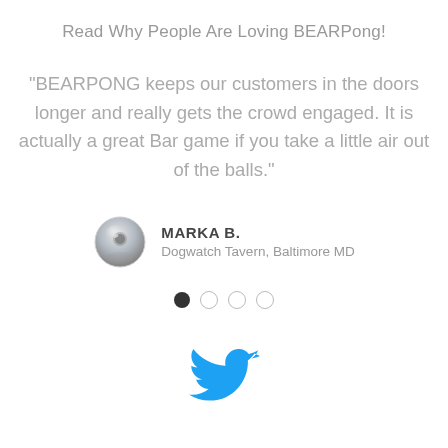Read Why People Are Loving BEARPong!
“BEARPONG keeps our customers in the doors longer and really gets the crowd engaged. It is actually a great Bar game if you take a little air out of the balls.”
MARKA B.
Dogwatch Tavern, Baltimore MD
[Figure (other): Carousel pagination dots: one filled black dot followed by three empty circle dots]
[Figure (logo): Twitter bird logo in blue]